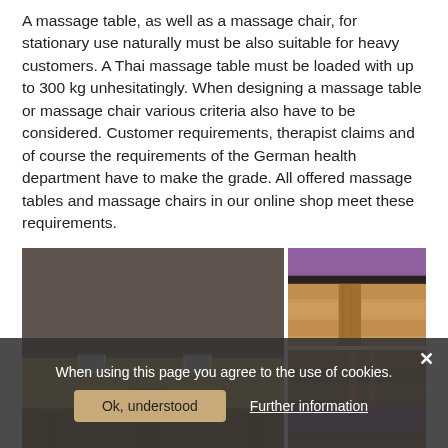A massage table, as well as a massage chair, for stationary use naturally must be also suitable for heavy customers. A Thai massage table must be loaded with up to 300 kg unhesitatingly. When designing a massage table or massage chair various criteria also have to be considered. Customer requirements, therapist claims and of course the requirements of the German health department have to make the grade. All offered massage tables and massage chairs in our online shop meet these requirements.
[Figure (photo): Close-up photo of a massage table corner showing wooden frame construction and dark padded surface with metal connectors]
[Figure (photo): Photo of a massage chair leg/base area showing purple upholstered seat and wooden leg on a wood floor]
[Figure (photo): Photo of the underside or storage area of a massage table with purple cushion and wooden slat construction]
When using this page you agree to the use of cookies.